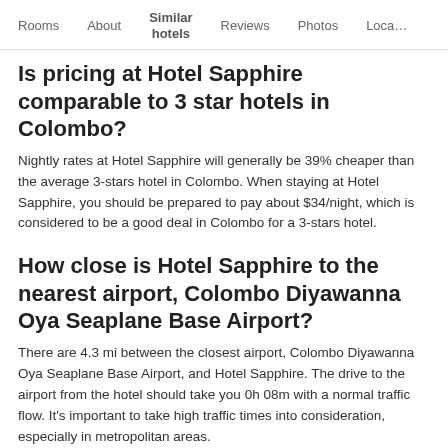Rooms | About | Similar hotels | Reviews | Photos | Loca…
Is pricing at Hotel Sapphire comparable to 3 star hotels in Colombo?
Nightly rates at Hotel Sapphire will generally be 39% cheaper than the average 3-stars hotel in Colombo. When staying at Hotel Sapphire, you should be prepared to pay about $34/night, which is considered to be a good deal in Colombo for a 3-stars hotel.
How close is Hotel Sapphire to the nearest airport, Colombo Diyawanna Oya Seaplane Base Airport?
There are 4.3 mi between the closest airport, Colombo Diyawanna Oya Seaplane Base Airport, and Hotel Sapphire. The drive to the airport from the hotel should take you 0h 08m with a normal traffic flow. It's important to take high traffic times into consideration, especially in metropolitan areas.